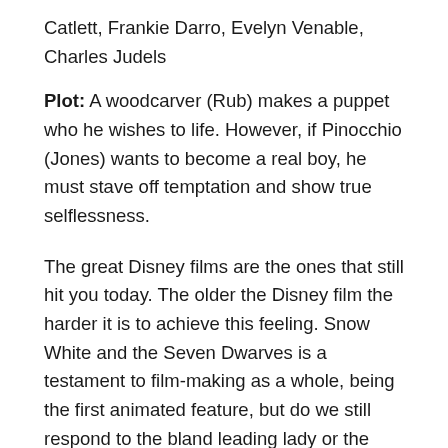Catlett, Frankie Darro, Evelyn Venable, Charles Judels
Plot: A woodcarver (Rub) makes a puppet who he wishes to life. However, if Pinocchio (Jones) wants to become a real boy, he must stave off temptation and show true selflessness.
The great Disney films are the ones that still hit you today. The older the Disney film the harder it is to achieve this feeling. Snow White and the Seven Dwarves is a testament to film-making as a whole, being the first animated feature, but do we still respond to the bland leading lady or the prolonged slapstick gags? The other Disneys I have looked back on, Dumbo and Aristocats, didn't quite live up to the memory of themselves, still great pieces of children's cinema, but for me, they were missing something that my younger self didn't pick up on. I was worried that this would be the same experience waiting for me with Pinocchio. We